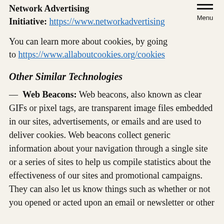Network Advertising Initiative: https://www.networkadvertising…
You can learn more about cookies, by going to https://www.allaboutcookies.org/cookies
Other Similar Technologies
— Web Beacons: Web beacons, also known as clear GIFs or pixel tags, are transparent image files embedded in our sites, advertisements, or emails and are used to deliver cookies. Web beacons collect generic information about your navigation through a single site or a series of sites to help us compile statistics about the effectiveness of our sites and promotional campaigns. They can also let us know things such as whether or not you opened or acted upon an email or newsletter or other